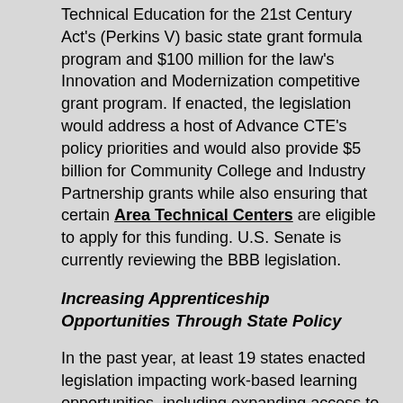Technical Education for the 21st Century Act's (Perkins V) basic state grant formula program and $100 million for the law's Innovation and Modernization competitive grant program. If enacted, the legislation would address a host of Advance CTE's policy priorities and would also provide $5 billion for Community College and Industry Partnership grants while also ensuring that certain Area Technical Centers are eligible to apply for this funding. U.S. Senate is currently reviewing the BBB legislation.
Increasing Apprenticeship Opportunities Through State Policy
In the past year, at least 19 states enacted legislation impacting work-based learning opportunities, including expanding access to apprenticeships, allowing credit to be earned for out-of-school-time learning, and increasing transparency in communication about apprenticeships. The following policies in this blog represent a small sample of pre-apprenticeship and apprenticeship-related laws.